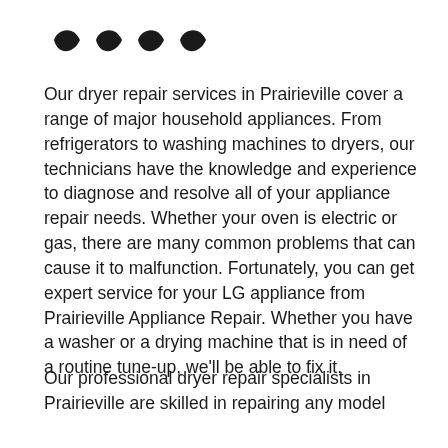[Figure (other): Four star/checkmark icons in a row]
Our dryer repair services in Prairieville cover a range of major household appliances. From refrigerators to washing machines to dryers, our technicians have the knowledge and experience to diagnose and resolve all of your appliance repair needs. Whether your oven is electric or gas, there are many common problems that can cause it to malfunction. Fortunately, you can get expert service for your LG appliance from Prairieville Appliance Repair. Whether you have a washer or a drying machine that is in need of a routine tune-up, we'll be able to fix it.
Our professional dryer repair specialists in Prairieville are skilled in repairing any model